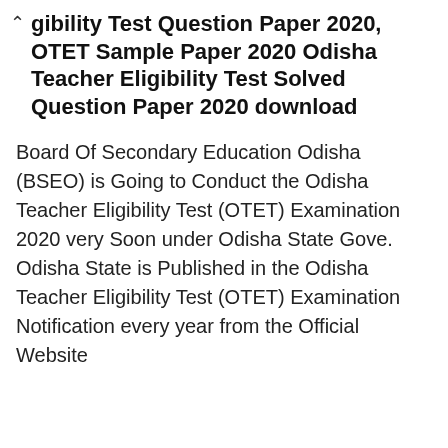gibility Test Question Paper 2020, OTET Sample Paper 2020 Odisha Teacher Eligibility Test Solved Question Paper 2020 download
Board Of Secondary Education Odisha (BSEO) is Going to Conduct the Odisha Teacher Eligibility Test (OTET) Examination 2020 very Soon under Odisha State Gove. Odisha State is Published in the Odisha Teacher Eligibility Test (OTET) Examination Notification every year from the Official Website